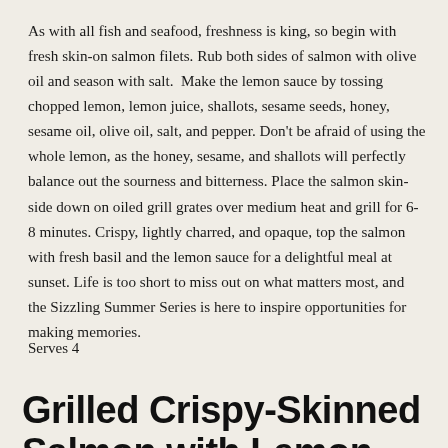As with all fish and seafood, freshness is king, so begin with fresh skin-on salmon filets. Rub both sides of salmon with olive oil and season with salt. Make the lemon sauce by tossing chopped lemon, lemon juice, shallots, sesame seeds, honey, sesame oil, olive oil, salt, and pepper. Don't be afraid of using the whole lemon, as the honey, sesame, and shallots will perfectly balance out the sourness and bitterness. Place the salmon skin-side down on oiled grill grates over medium heat and grill for 6-8 minutes. Crispy, lightly charred, and opaque, top the salmon with fresh basil and the lemon sauce for a delightful meal at sunset. Life is too short to miss out on what matters most, and the Sizzling Summer Series is here to inspire opportunities for making memories.
Serves 4
Grilled Crispy-Skinned Salmon with Lemon...